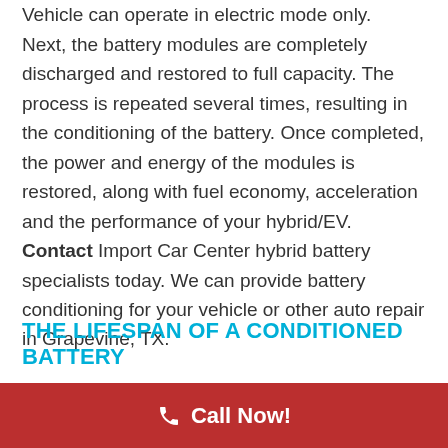Vehicle can operate in electric mode only.
Next, the battery modules are completely discharged and restored to full capacity. The process is repeated several times, resulting in the conditioning of the battery. Once completed, the power and energy of the modules is restored, along with fuel economy, acceleration and the performance of your hybrid/EV. Contact Import Car Center hybrid battery specialists today. We can provide battery conditioning for your vehicle or other auto repair in Grapevine, TX.
THE LIFESPAN OF A CONDITIONED BATTERY
When battery conditioning is provided by a
Call Now!